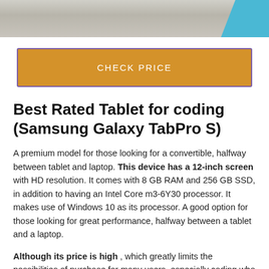[Figure (photo): Partial photo of a tablet with blue edge on a textured white/grey surface, cropped at top]
CHECK PRICE
Best Rated Tablet for coding (Samsung Galaxy TabPro S)
A premium model for those looking for a convertible, halfway between tablet and laptop. This device has a 12-inch screen with HD resolution. It comes with 8 GB RAM and 256 GB SSD, in addition to having an Intel Core m3-6Y30 processor. It makes use of Windows 10 as its processor. A good option for those looking for great performance, halfway between a tablet and a laptop.
Although its price is high , which greatly limits the possibilities of purchase for many users, especially coding who have to pay for it out of pocket.